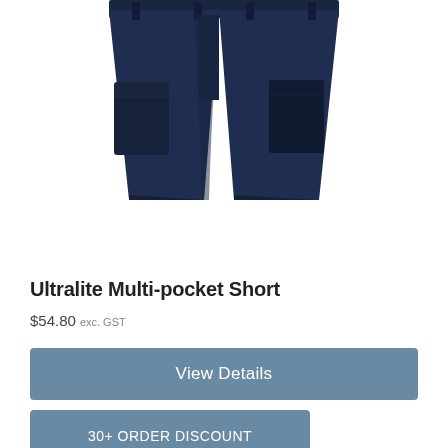[Figure (photo): Navy blue multi-pocket cargo shorts, cropped view showing lower half of the garment against white background]
Ultralite Multi-pocket Short
$54.80 exc. GST
View Details
30+ ORDER DISCOUNT